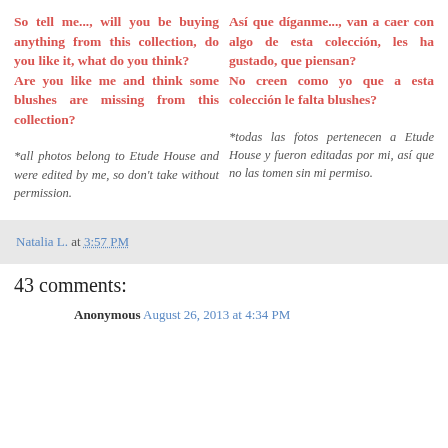So tell me..., will you be buying anything from this collection, do you like it, what do you think? Are you like me and think some blushes are missing from this collection?
Así que díganme..., van a caer con algo de esta colección, les ha gustado, que piensan? No creen como yo que a esta colección le falta blushes?
*all photos belong to Etude House and were edited by me, so don't take without permission.
*todas las fotos pertenecen a Etude House y fueron editadas por mi, así que no las tomen sin mi permiso.
Natalia L. at 3:57 PM
43 comments:
Anonymous August 26, 2013 at 4:34 PM